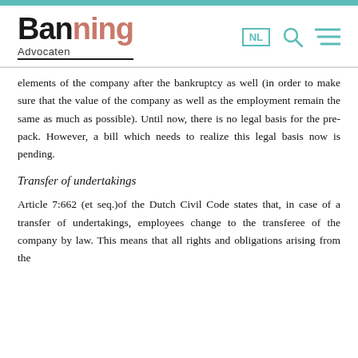[Figure (logo): Banning Advocaten law firm logo with teal top bar and navigation icons (NL language selector, search, menu)]
elements of the company after the bankruptcy as well (in order to make sure that the value of the company as well as the employment remain the same as much as possible). Until now, there is no legal basis for the pre-pack. However, a bill which needs to realize this legal basis now is pending.
Transfer of undertakings
Article 7:662 (et seq.)of the Dutch Civil Code states that, in case of a transfer of undertakings, employees change to the transferee of the company by law. This means that all rights and obligations arising from the